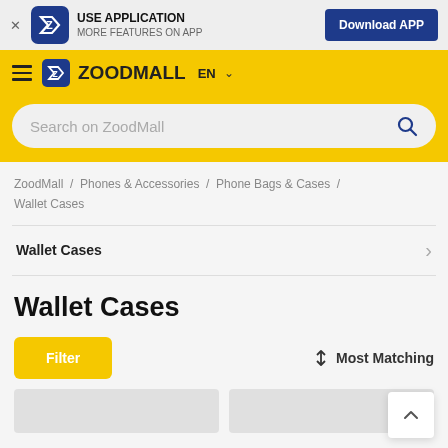USE APPLICATION — MORE FEATURES ON APP — Download APP
ZOODMALL EN
Search on ZoodMall
ZoodMall / Phones & Accessories / Phone Bags & Cases / Wallet Cases
Wallet Cases
Wallet Cases
Filter   Most Matching